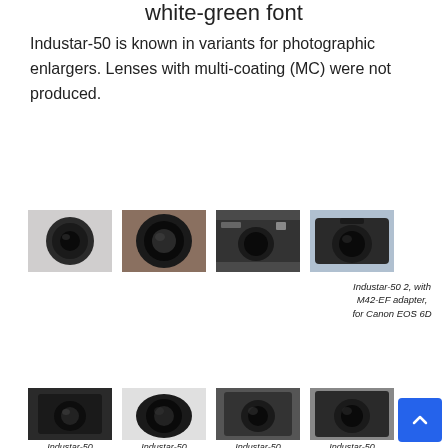white-green font
Industar-50 is known in variants for photographic enlargers. Lenses with multi-coating (MC) were not produced.
[Figure (photo): Four photos of Industar-50 lens variants in a row: standalone lens, close-up of lens, lens mounted on vintage camera, lens mounted on Canon DSLR]
Industar-50 2, with M42-EF adapter, for Canon EOS 6D
[Figure (photo): Four close-up photos of Industar-50 lens mounted on cameras, bottom row]
Industar-50
Industar-50
Industar-50
Industar-50